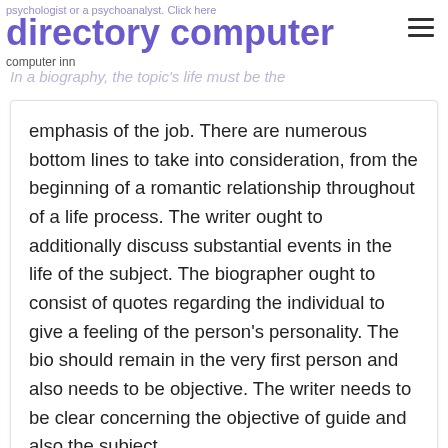psychologist or a psychoanalyst. Click here
directory computer
computer inn
In a biography, the topic's life must be the emphasis of the job. There are numerous bottom lines to take into consideration, from the beginning of a romantic relationship throughout of a life process. The writer ought to additionally discuss substantial events in the life of the subject. The biographer ought to consist of quotes regarding the individual to give a feeling of the person's personality. The bio should remain in the very first person and also needs to be objective. The writer needs to be clear concerning the objective of guide and also the subject.